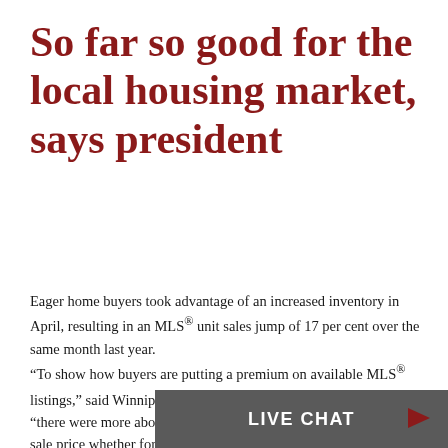So far so good for the local housing market, says president
Eager home buyers took advantage of an increased inventory in April, resulting in an MLS® unit sales jump of 17 per cent over the same month last year. “To show how buyers are putting a premium on available MLS® listings,” said WinnipegREALTORS® president Shirley Przybyl, “there were more above list price sales in April, and the average sale price whether for above, below or at list price for residential-detached home sales all were around the $280,000 price level.” Winnipeg... cent whe... The b...